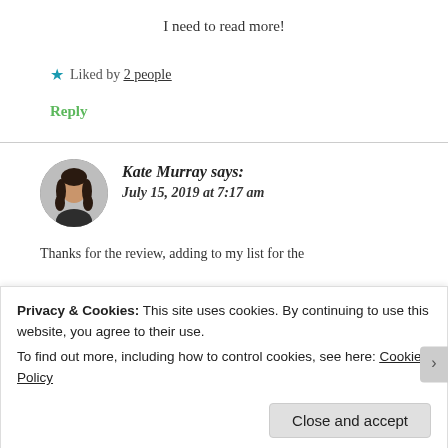I need to read more!
★ Liked by 2 people
Reply
Kate Murray says: July 15, 2019 at 7:17 am
Thanks for the review, adding to my list for the
Privacy & Cookies: This site uses cookies. By continuing to use this website, you agree to their use.
To find out more, including how to control cookies, see here: Cookie Policy
Close and accept